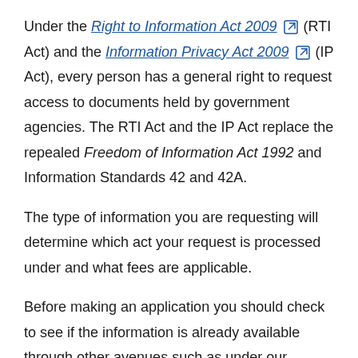Under the Right to Information Act 2009 (RTI Act) and the Information Privacy Act 2009 (IP Act), every person has a general right to request access to documents held by government agencies. The RTI Act and the IP Act replace the repealed Freedom of Information Act 1992 and Information Standards 42 and 42A.
The type of information you are requesting will determine which act your request is processed under and what fees are applicable.
Before making an application you should check to see if the information is already available through other avenues such as under our Administrative release policy